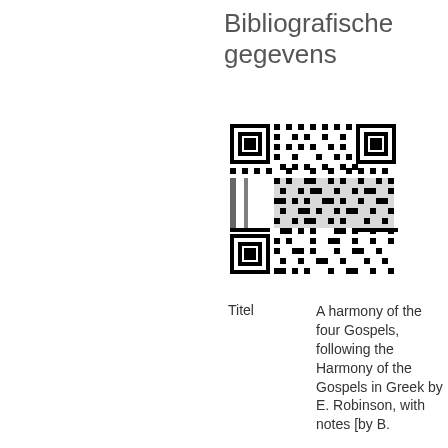Bibliografische gegevens
[Figure (other): QR code linking to bibliographic record]
| Titel | A harmony of the four Gospels, following the Harmony of the Gospels in Greek by E. Robinson, with notes [by B. |